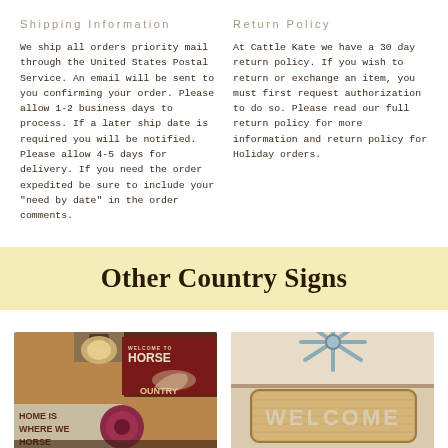Shipping Information
We ship all orders priority mail through the United States Postal Service. An email will be sent to you confirming your order. Please allow 1-2 business days to process. If a later ship date is required you will be notified. Please allow 4-5 days for delivery. If you need the order expedited be sure to include your "need by date" in the order comments.
Return Policy
At Cattle Kate we have a 30 day return policy. If you wish to return or exchange an item, you must first request authorization to do so. Please read our full return policy for more information and return policy for Holiday orders.
Other Country Signs
[Figure (photo): Country signs display with 'Home Is Where We Horse' sign and 'Welcome To Horse Country' red sign with horse silhouette, decorative lantern and flowers]
[Figure (photo): Wooden 'WELCOME' sign with decorative metal windmill topper on light background]